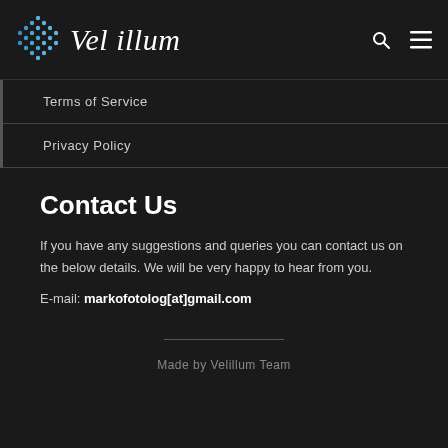[Figure (logo): Vel illum logo with blue diamond/dot grid icon and italic script text]
Terms of Service
Privacy Policy
Contact Us
If you have any suggestions and queries you can contact us on the below details. We will be very happy to hear from you.
E-mail: markofotolog[at]gmail.com
Made by Velillum Team